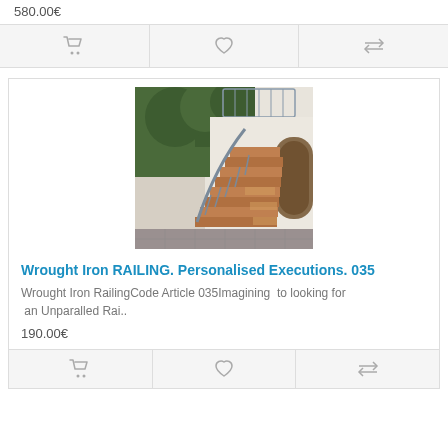580.00€
[Figure (other): Three icon buttons: shopping cart, heart/wishlist, and compare arrows]
[Figure (photo): Photo of a wrought iron railing on an outdoor staircase with wooden steps, surrounded by trees and white walls]
Wrought Iron RAILING. Personalised Executions. 035
Wrought Iron RailingCode Article 035Imagining  to looking for  an Unparalled Rai..
190.00€
[Figure (other): Three icon buttons at bottom: shopping cart, heart/wishlist, and compare arrows]